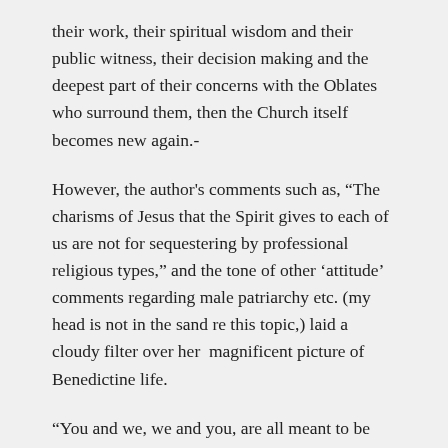their work, their spiritual wisdom and their public witness, their decision making and the deepest part of their concerns with the Oblates who surround them, then the Church itself becomes new again.-
However, the author's comments such as, "The charisms of Jesus that the Spirit gives to each of us are not for sequestering by professional religious types," and the tone of other 'attitude' comments regarding male patriarchy etc. (my head is not in the sand re this topic,) laid a cloudy filter over her  magnificent picture of Benedictine life.
“You and we, we and you, are all meant to be gifts of Benedictine peace, prayer, justice , humility, human community and life-giving work. Indeed, together, we are  meant to be messengers, models and makers of a whole new world wherever we are,” says the author.